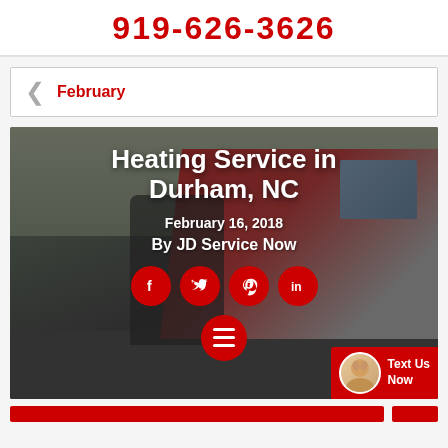919-626-3626
February
[Figure (photo): Hero image showing a service technician standing in front of a red JD Service Now van. Overlaid text reads: Heating Service in Durham, NC / February 16, 2018 / By JD Service Now. Social media icons (Facebook, Twitter, Pinterest, LinkedIn) shown as red circles below the text. A hamburger menu button and a Text Us Now chat badge are visible.]